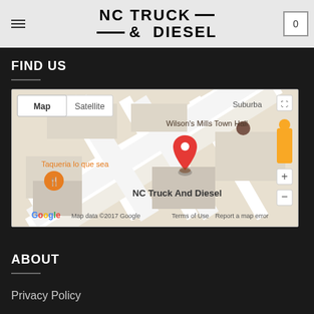NC Truck & Diesel
FIND US
[Figure (map): Google Map showing NC Truck And Diesel location near Wilson's Mills Town Hall, with Taqueria lo que sea nearby. Map/Satellite toggle shown. Map data ©2017 Google. Includes Terms of Use and Report a map error links.]
ABOUT
Privacy Policy
Terms of Use